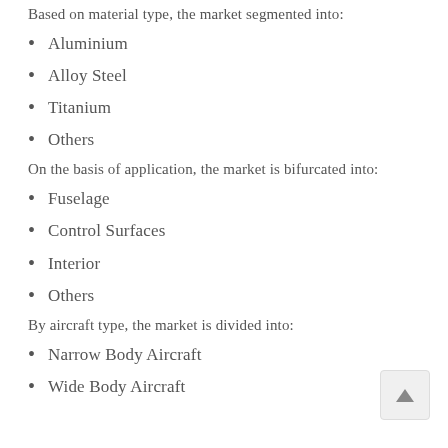Based on material type, the market segmented into:
Aluminium
Alloy Steel
Titanium
Others
On the basis of application, the market is bifurcated into:
Fuselage
Control Surfaces
Interior
Others
By aircraft type, the market is divided into:
Narrow Body Aircraft
Wide Body Aircraft